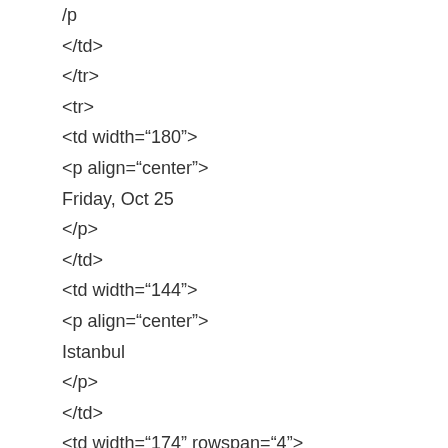/p
</td>
</tr>
<tr>
<td width="180">
<p align="center">
Friday, Oct 25
</p>
</td>
<td width="144">
<p align="center">
Istanbul
</p>
</td>
<td width="174" rowspan="4">
<p align="center">
Limited Seats Available
</p>